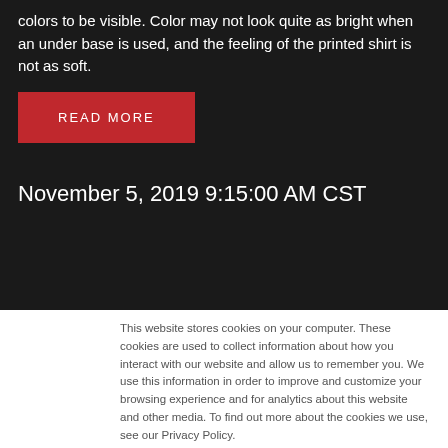colors to be visible. Color may not look quite as bright when an under base is used, and the feeling of the printed shirt is not as soft.
READ MORE
November 5, 2019 9:15:00 AM CST
This website stores cookies on your computer. These cookies are used to collect information about how you interact with our website and allow us to remember you. We use this information in order to improve and customize your browsing experience and for analytics about this website and other media. To find out more about the cookies we use, see our Privacy Policy.
Accept
Don't ask me again